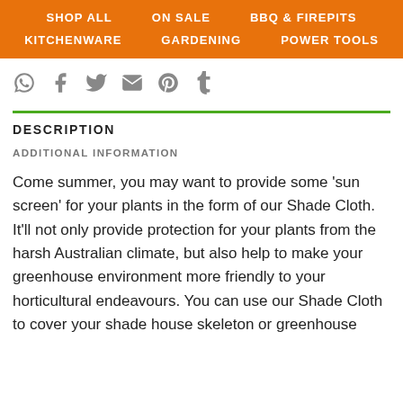SHOP ALL   ON SALE   BBQ & FIREPITS   KITCHENWARE   GARDENING   POWER TOOLS
[Figure (infographic): Social media share icons: WhatsApp, Facebook, Twitter, Email, Pinterest, Tumblr]
DESCRIPTION
ADDITIONAL INFORMATION
Come summer, you may want to provide some ‘sun screen’ for your plants in the form of our Shade Cloth. It’ll not only provide protection for your plants from the harsh Australian climate, but also help to make your greenhouse environment more friendly to your horticultural endeavours. You can use our Shade Cloth to cover your shade house skeleton or greenhouse